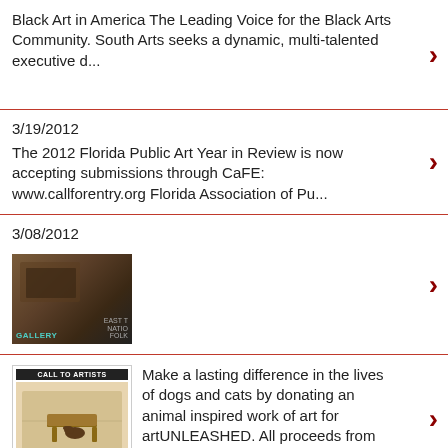Black Art in America The Leading Voice for the Black Arts Community. South Arts seeks a dynamic, multi-talented executive d...
3/19/2012
The 2012 Florida Public Art Year in Review is now accepting submissions through CaFE: www.callforentry.org Florida Association of Pu...
3/08/2012
[Figure (photo): Thumbnail image showing a dark brown sculptural or craft object against a dark background, with gallery text overlay]
[Figure (photo): Call to Artists flyer thumbnail showing an outdoor scene with a dog and chair]
Make a lasting difference in the lives of dogs and cats by donating an animal inspired work of art for artUNLEASHED. All proceeds from this ...
3/06/2012